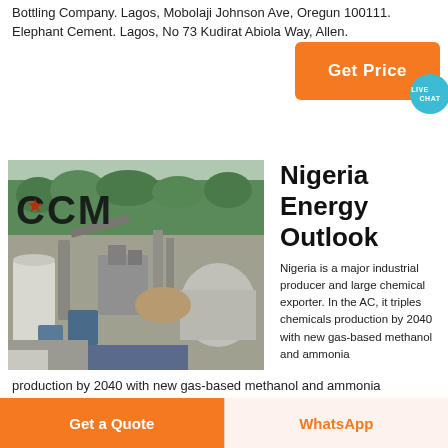Bottling Company. Lagos, Mobolaji Johnson Ave, Oregun 100111. Elephant Cement. Lagos, No 73 Kudirat Abiola Way, Allen.
[Figure (other): Orange 'Get Price' button with a live chat speech bubble icon overlay]
[Figure (photo): Industrial facility / quarry or cement plant with large machinery, silos, conveyors, and vegetation in background. CCM logo text overlaid.]
Nigeria Energy Outlook
Nigeria is a major industrial producer and large chemical exporter. In the AC, it triples chemicals production by 2040 with new gas-based methanol and ammonia
[Figure (other): 'Get a Quote' orange button and 'WhatsApp' button at bottom of page]